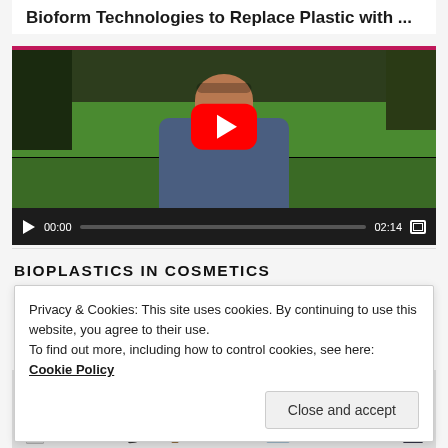Bioform Technologies to Replace Plastic with ...
[Figure (screenshot): Embedded YouTube video player showing a man speaking outdoors with a garden background. Red YouTube play button overlay visible. Video controls show 00:00 / 02:14.]
BIOPLASTICS IN COSMETICS
Privacy & Cookies: This site uses cookies. By continuing to use this website, you agree to their use.
To find out more, including how to control cookies, see here: Cookie Policy
Close and accept
[Figure (photo): Strip of cosmetics product images including makeup brushes, compacts, lipstick, and skincare bottles.]